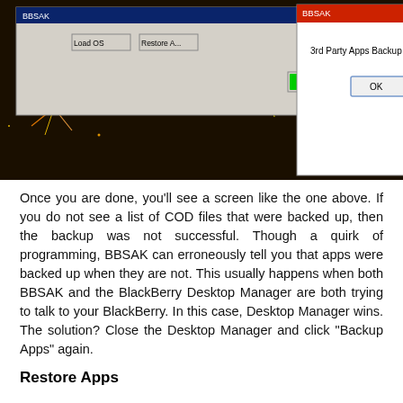[Figure (screenshot): Screenshot of BBSAK application window with a dialog box saying '3rd Party Apps Backup Completed!' and an OK button, overlaid on a fireworks background. Behind the dialog is a window with 'Load OS' and 'Restore A...' buttons and a green progress bar.]
Once you are done, you'll see a screen like the one above. If you do not see a list of COD files that were backed up, then the backup was not successful. Though a quirk of programming, BBSAK can erroneously tell you that apps were backed up when they are not. This usually happens when both BBSAK and the BlackBerry Desktop Manager are both trying to talk to your BlackBerry. In this case, Desktop Manager wins. The solution? Close the Desktop Manager and click "Backup Apps" again.
Restore Apps